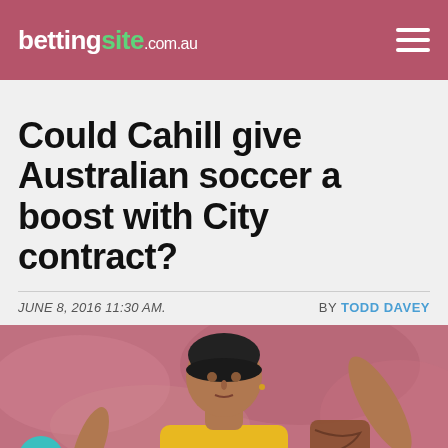bettingsite.com.au
Could Cahill give Australian soccer a boost with City contract?
JUNE 8, 2016 11:30 AM.   BY TODD DAVEY
[Figure (photo): Tim Cahill in Australian soccer yellow jersey with arms raised, crowd in background]